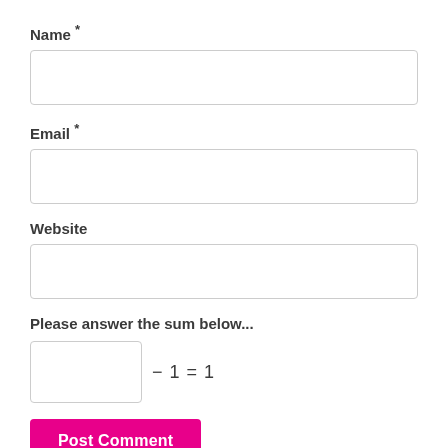Name *
[Figure (other): Empty text input field for Name]
Email *
[Figure (other): Empty text input field for Email]
Website
[Figure (other): Empty text input field for Website]
Please answer the sum below...
[Figure (other): Small empty input box followed by equation: − 1 = 1]
Post Comment